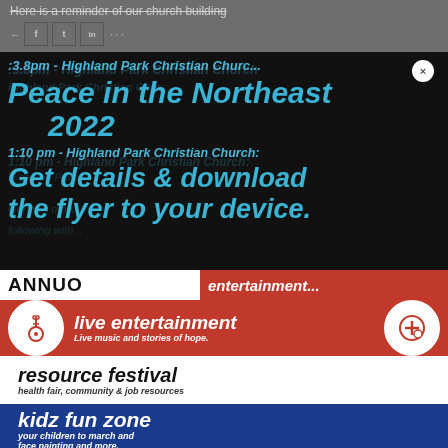Here is a reminder of our church building
[Figure (screenshot): Social share icons: back arrow, Facebook (f), Twitter (t), LinkedIn (in), and dots menu on grey background]
[Figure (screenshot): Modal overlay on dark background with cyan/blue italic text: '...3:8pm - Highland Park Christian Church' (faded bg), 'Peace in the Northeast 2022', 'Get details & download the flyer to your device.' with an X close button]
[Figure (infographic): Event flyer showing: ANNUO[AL] header, red band with 'live entertainment - Live music and stories of hope.' with guitar circle icon and medical circle icon, white band with 'resource festival - health fair, community & job resources', blue band with 'kidz fun zone - your children to march and... face painting and more.']